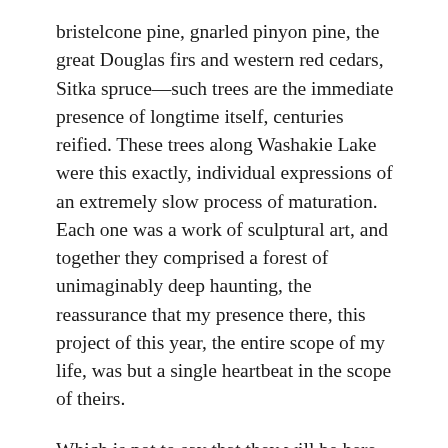bristelcone pine, gnarled pinyon pine, the great Douglas firs and western red cedars, Sitka spruce—such trees are the immediate presence of longtime itself, centuries reified. These trees along Washakie Lake were this exactly, individual expressions of an extremely slow process of maturation. Each one was a work of sculptural art, and together they comprised a forest of unimaginably deep haunting, the reassurance that my presence there, this project of this year, the entire scope of my life, was but a single heartbeat in the scope of theirs.
Which is not to say that they will be here forever—in fact, they are dying. I have purposely refrained from hyperlinks in these writings, but here is an extremely informative article in High Country News that describes their plight (and here you will see a photo of a dead